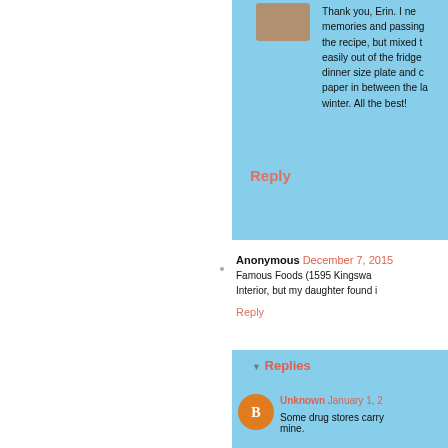Thank you, Erin. I ne memories and passing the recipe, but mixed t easily out of the fridge dinner size plate and c paper in between the la winter. All the best!
Reply
Anonymous December 7, 2015
Famous Foods (1595 Kingswa Interior, but my daughter found i
Reply
Replies
Unknown January 1, 2
Some drug stores carry mine.